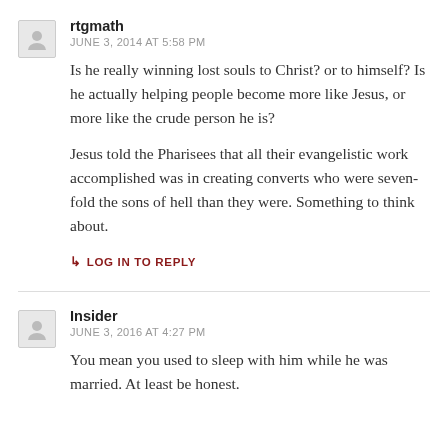rtgmath
JUNE 3, 2014 AT 5:58 PM
Is he really winning lost souls to Christ? or to himself? Is he actually helping people become more like Jesus, or more like the crude person he is?
Jesus told the Pharisees that all their evangelistic work accomplished was in creating converts who were seven-fold the sons of hell than they were. Something to think about.
↳ LOG IN TO REPLY
Insider
JUNE 3, 2016 AT 4:27 PM
You mean you used to sleep with him while he was married. At least be honest.